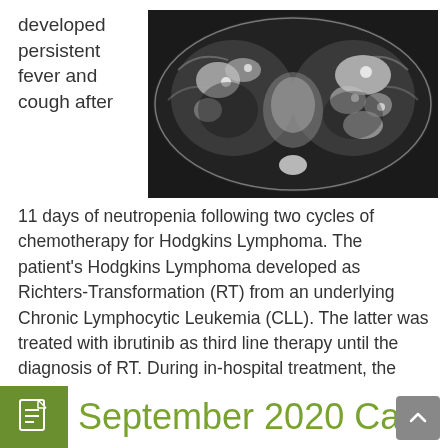developed persistent fever and cough after
[Figure (photo): CT scan axial cross-section of lungs showing pulmonary infiltrates/lesions consistent with infection or lymphoma involvement]
11 days of neutropenia following two cycles of chemotherapy for Hodgkins Lymphoma. The patient's Hodgkins Lymphoma developed as Richters-Transformation (RT) from an underlying Chronic Lymphocytic Leukemia (CLL). The latter was treated with ibrutinib as third line therapy until the diagnosis of RT. During in-hospital treatment, the patient developed a skin-lesion on the left lower leg and, simultaneously, fever and cough.
December 24, 2020
Clinical Cases
September 2020 Case